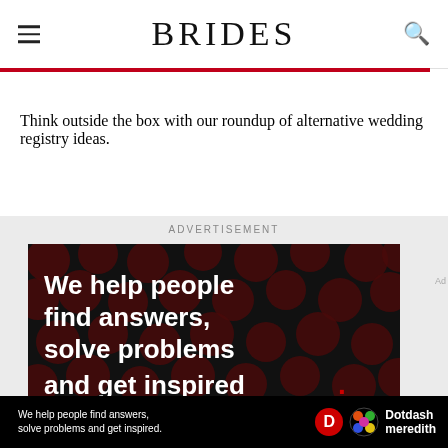BRIDES
Think outside the box with our roundup of alternative wedding registry ideas.
ADVERTISEMENT
[Figure (photo): Advertisement banner with dark background showing polka dot pattern and white bold text: 'We help people find answers, solve problems and get inspired.' with a red period at the end. Below is a Dotdash Meredith logo bar.]